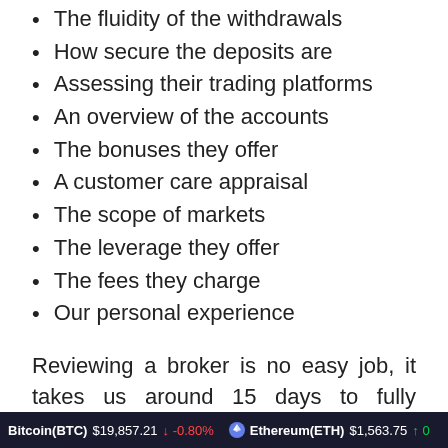The fluidity of the withdrawals
How secure the deposits are
Assessing their trading platforms
An overview of the accounts
The bonuses they offer
A customer care appraisal
The scope of markets
The leverage they offer
The fees they charge
Our personal experience
Reviewing a broker is no easy job, it takes us around 15 days to fully examine each
Bitcoin(BTC) $19,857.21 ↓ -0.80%    Ethereum(ETH) $1,563.75 ↑ 0